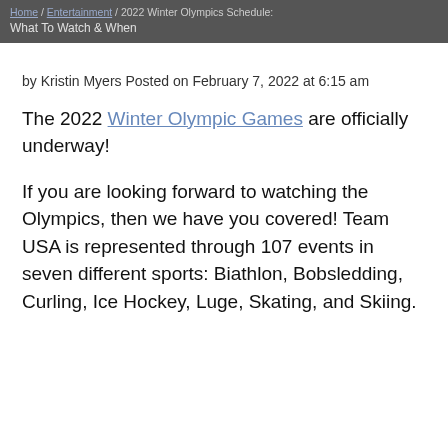Home / Entertainment / 2022 Winter Olympics Schedule: What To Watch & When
by Kristin Myers Posted on February 7, 2022 at 6:15 am
The 2022 Winter Olympic Games are officially underway!
If you are looking forward to watching the Olympics, then we have you covered! Team USA is represented through 107 events in seven different sports: Biathlon, Bobsledding, Curling, Ice Hockey, Luge, Skating, and Skiing.